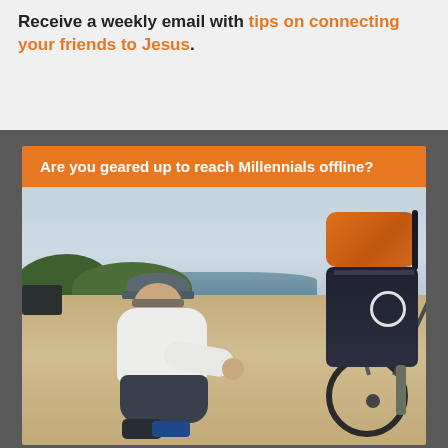Receive a weekly email with tips on connecting your friends to Jesus.
[Figure (photo): A promotional card with an orange header reading 'Are you geared up to reach Millennials offline?' above a photo of a young man with a cap crouching on a sandy beach next to a heavily loaded touring bicycle with orange and black panniers.]